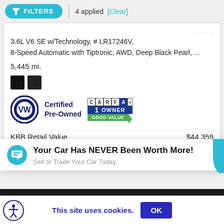FILTERS | 4 applied [Clear]
3.6L V6 SE w/Technology, # LR17246V, 8-Speed Automatic with Tiptronic, AWD, Deep Black Pearl, ...
5,445 mi.
[Figure (logo): Two black color swatches]
[Figure (logo): VW Certified Pre-Owned logo and CARFAX 1 Owner Good Value badge]
KBB Retail Value $44,359
Sheehy Instant Savings - $2,680
Your Car Has NEVER Been Worth More! Sell or Trade Your Car Today.
This site uses cookies. OK